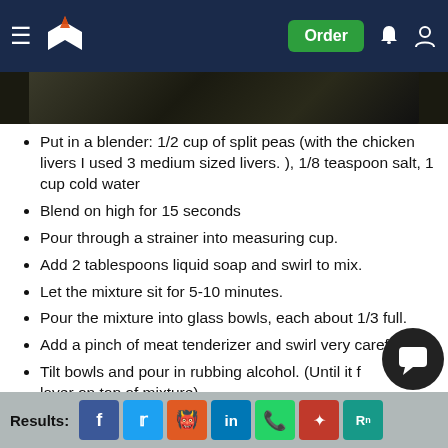Navigation bar with logo, Order button, notification and account icons
[Figure (photo): Partial photo strip showing a dark nature/food scene image]
Put in a blender: 1/2 cup of split peas (with the chicken livers I used 3 medium sized livers. ), 1/8 teaspoon salt, 1 cup cold water
Blend on high for 15 seconds
Pour through a strainer into measuring cup.
Add 2 tablespoons liquid soap and swirl to mix.
Let the mixture sit for 5-10 minutes.
Pour the mixture into glass bowls, each about 1/3 full.
Add a pinch of meat tenderizer and swirl very carefully
Tilt bowls and pour in rubbing alcohol. (Until it forms a layer on top of mixture)
Results: [share icons: Facebook, Twitter, Reddit, LinkedIn, WhatsApp, Mendeley, ResearchGate]